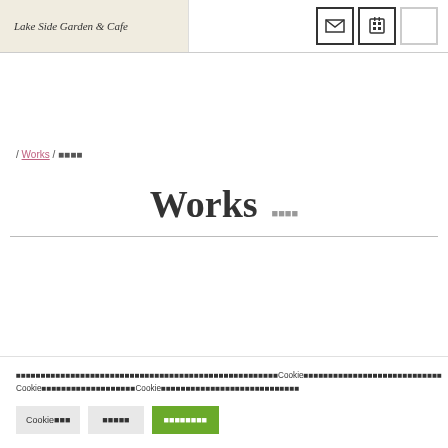Lake Side Garden & Cafe
/ Works / ■■■■
Works　■■■■
■■■■■■■■■■■■■■■■■■■■■■■■■■■■■■■■■■■■■■■■■Cookie■■■■■■■■■■■■■■■■■■■■■■■■■■ Cookie■■■■■■■■■■■■■■Cookie■■■■■■■■■■■■■■■■■■■■■■■
Cookie設定 / ■■■■■ / ■■■■■■■■